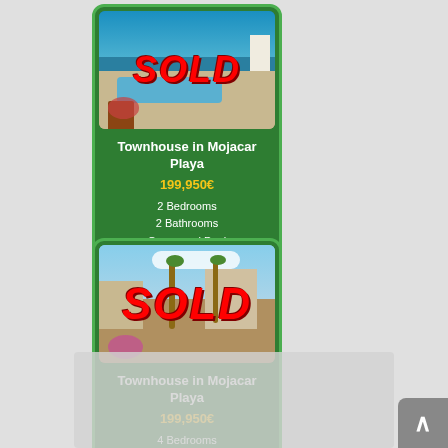[Figure (photo): Townhouse listing card 1 with SOLD overlay photo showing sea view, pool terrace]
Townhouse in Mojacar Playa
199,950€
2 Bedrooms
2 Bathrooms
Communal Pool
[Figure (photo): Townhouse listing card 2 with SOLD overlay photo showing street/town view]
Townhouse in Mojacar Playa
199,950€
4 Bedrooms
2 Bathrooms
Communal Pool